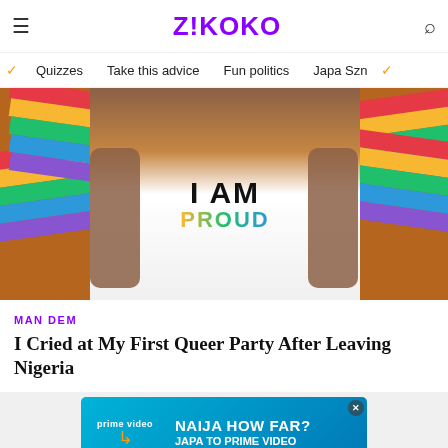Z!KOKO
Quizzes | Take this advice | Fun politics | Japa Szn
[Figure (photo): A person holding a rainbow pride flag behind their back wearing an 'I AM PROUD' shirt, photographed at an outdoor pride event]
MAN DEM
I Cried at My First Queer Party After Leaving Nigeria
[Figure (other): Amazon Prime Video advertisement banner: 'NAIJA HOW FAR? JAPA TO PRIME VIDEO']